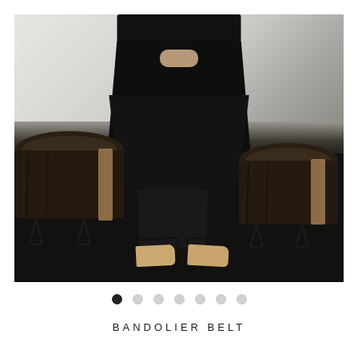[Figure (photo): Fashion product photo showing a person from torso down wearing a black draped harem-style outfit with black strappy sandals, standing between two dark wooden stump stools on a dark textured rug/mat, white wall in background.]
● ○ ○ ○ ○ ○ ○
BANDOLIER BELT